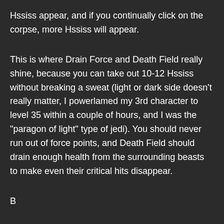Hssiss appear, and if you continually click on the corpse, more Hssiss will appear.
This is where Drain Force and Death Field really shine, because you can take out 10-12 Hssiss without breaking a sweat (light or dark side doesn't really matter, I powerlamed my 3rd character to level 35 within a couple of hours, and I was the "paragon of light" type of jedi). You should never run out of force points, and Death Field should drain enough health from the surrounding beasts to make even their critical hits disappear.
Reuse yourself from the corpse...